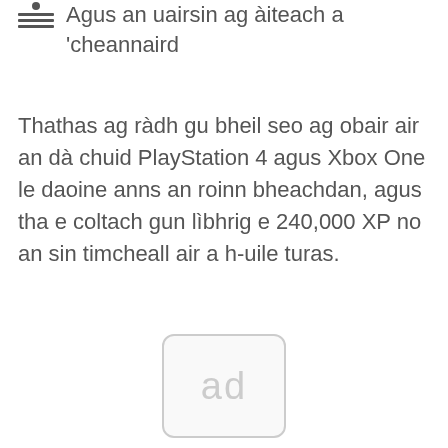Agus an uairsin ag àiteach a 'cheannaird
Thathas ag ràdh gu bheil seo ag obair air an dà chuid PlayStation 4 agus Xbox One le daoine anns an roinn bheachdan, agus tha e coltach gun lìbhrig e 240,000 XP no an sin timcheall air a h-uile turas.
[Figure (other): Advertisement placeholder box with 'ad' text]